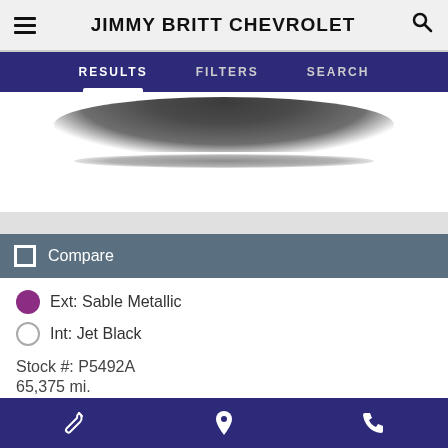JIMMY BRITT CHEVROLET
RESULTS  FILTERS  SEARCH
[Figure (photo): Partial view of a vehicle (dark colored car, top view cropped), showing silhouette/shadow on white background]
Compare
Ext: Sable Metallic
Int: Jet Black
Stock #: P5492A
65,375 mi.
Price
Call
Bottom navigation bar with wrench, location pin, and phone icons